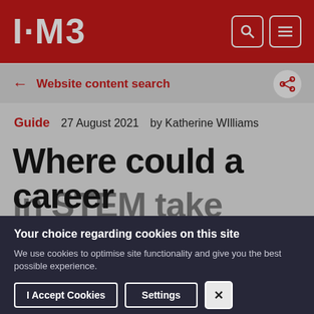I·M3
← Website content search
Guide   27 August 2021   by Katherine WIlliams
Where could a career
Your choice regarding cookies on this site
We use cookies to optimise site functionality and give you the best possible experience.
I Accept Cookies   Settings   ×